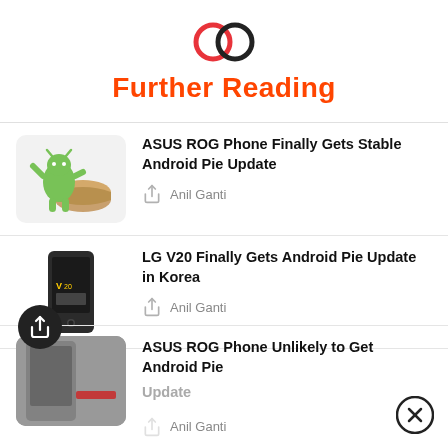[Figure (logo): Two interlocking circles logo icon in red and dark/black]
Further Reading
ASUS ROG Phone Finally Gets Stable Android Pie Update — Anil Ganti
LG V20 Finally Gets Android Pie Update in Korea — Anil Ganti
ASUS ROG Phone Unlikely to Get Android Pie Update — Anil Ganti